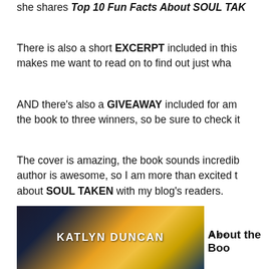she shares Top 10 Fun Facts About SOUL TAK…
There is also a short EXCERPT included in this… makes me want to read on to find out just wha…
AND there's also a GIVEAWAY included for am… the book to three winners, so be sure to check it…
The cover is amazing, the book sounds incredib… author is awesome, so I am more than excited t… about SOUL TAKEN with my blog's readers.
***
[Figure (photo): Book cover image showing KATLYN DUNCAN text over a cosmic/nebula background with blue and golden tones]
About the Boo…